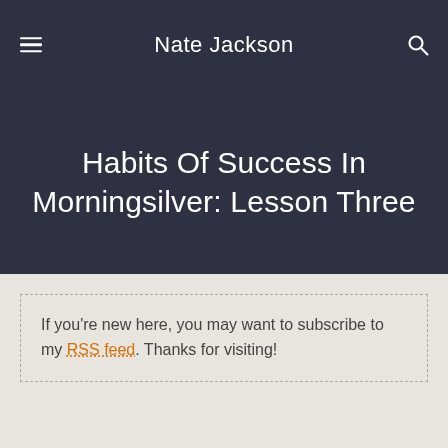Nate Jackson
Habits Of Success In Morningsilver: Lesson Three
If you're new here, you may want to subscribe to my RSS feed. Thanks for visiting!